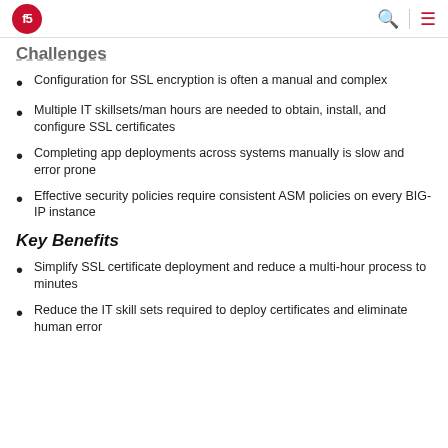f5 [logo] [search icon] [menu icon]
Challenges
Configuration for SSL encryption is often a manual and complex
Multiple IT skillsets/man hours are needed to obtain, install, and configure SSL certificates
Completing app deployments across systems manually is slow and error prone
Effective security policies require consistent ASM policies on every BIG-IP instance
Key Benefits
Simplify SSL certificate deployment and reduce a multi-hour process to minutes
Reduce the IT skill sets required to deploy certificates and eliminate human error